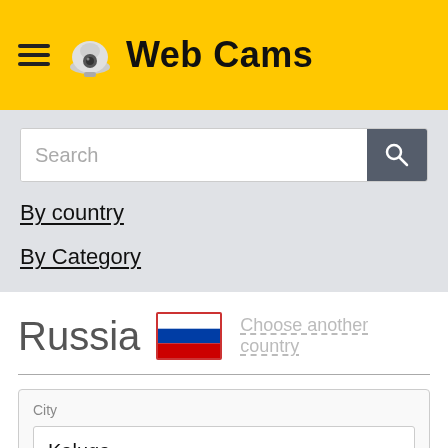Web Cams
Search
By country
By Category
Russia
Choose another country
City
Kaluga
Category